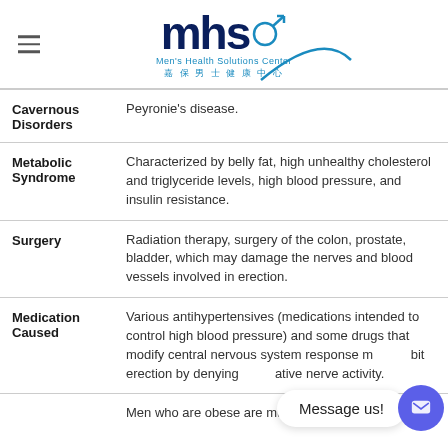[Figure (logo): MHS Men's Health Solutions Center logo with Chinese characters 嘉保男士健康中心]
| Category | Description |
| --- | --- |
| Cavernous Disorders | Peyronie's disease. |
| Metabolic Syndrome | Characterized by belly fat, high unhealthy cholesterol and triglyceride levels, high blood pressure, and insulin resistance. |
| Surgery | Radiation therapy, surgery of the colon, prostate, bladder, which may damage the nerves and blood vessels involved in erection. |
| Medication Caused | Various antihypertensives (medications intended to control high blood pressure) and some drugs that modify central nervous system response may inhibit erection by denying alternative nerve activity. |
|  | Men who are obese are much more likely to have |